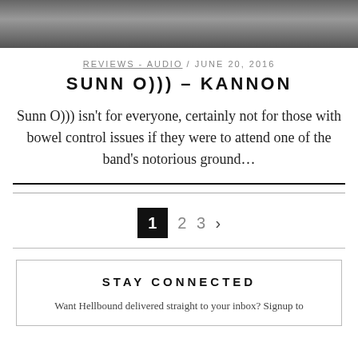[Figure (photo): Top strip showing a dark grayscale photo of a band or musical artist]
REVIEWS - AUDIO / JUNE 20, 2016
SUNN O))) – KANNON
Sunn O))) isn't for everyone, certainly not for those with bowel control issues if they were to attend one of the band's notorious ground...
1 2 3 ›
STAY CONNECTED
Want Hellbound delivered straight to your inbox? Signup to